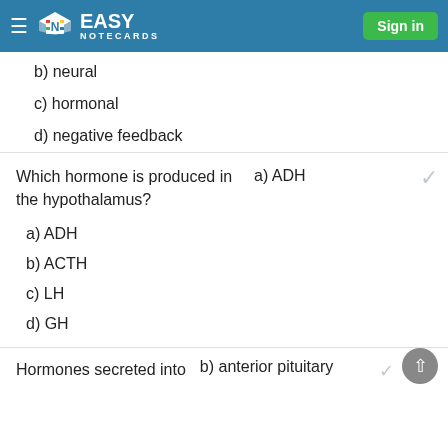Easy Notecards — Sign in
b) neural
c) hormonal
d) negative feedback
Which hormone is produced in the hypothalamus?
a) ADH
a) ADH
b) ACTH
c) LH
d) GH
Hormones secreted into
b) anterior pituitary